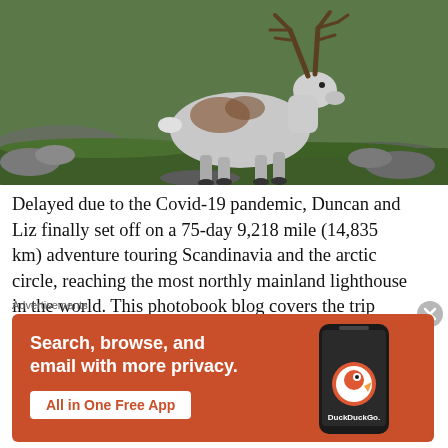[Figure (photo): A reindeer with large antlers walking on mossy rocky terrain with green vegetation in the background. The animal is grey-white with brown patches.]
Delayed due to the Covid-19 pandemic, Duncan and Liz finally set off on a 75-day 9,218 mile (14,835 km) adventure touring Scandinavia and the arctic circle, reaching the most northly mainland lighthouse in the world. This photobook blog covers the trip from the Lofotens unto and around the Nordkinn peninsula
Advertisements
[Figure (screenshot): DuckDuckGo advertisement banner with orange background. Shows a smartphone with DuckDuckGo app. Text reads: Search, browse, and email with more privacy. All in One Free App. DuckDuckGo branding with logo.]